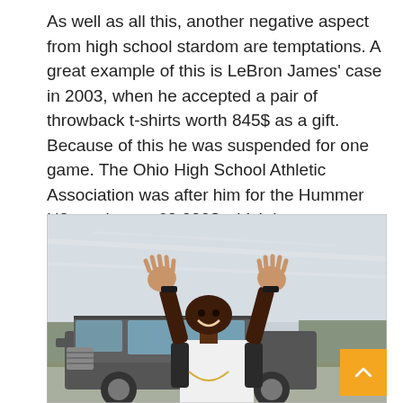As well as all this, another negative aspect from high school stardom are temptations. A great example of this is LeBron James' case in 2003, when he accepted a pair of throwback t-shirts worth 845$ as a gift. Because of this he was suspended for one game. The Ohio High School Athletic Association was after him for the Hummer H2 worth over 60,000$ which he was seen driving back when he was still a senior as well.
[Figure (photo): A young LeBron James smiling and making a hand gesture above his head while standing in front of a large SUV (Hummer H2) outdoors.]